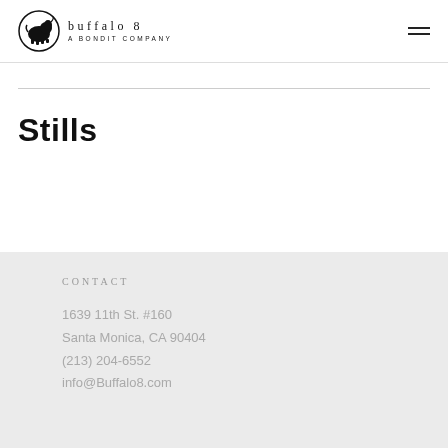[Figure (logo): Buffalo 8 logo: black circle with bison silhouette, text 'buffalo 8' with letter-spacing and 'A BONDIT COMPANY' below]
Stills
CONTACT
1639 11th St. #160
Santa Monica, CA 90404
(213) 204-6552
info@Buffalo8.com